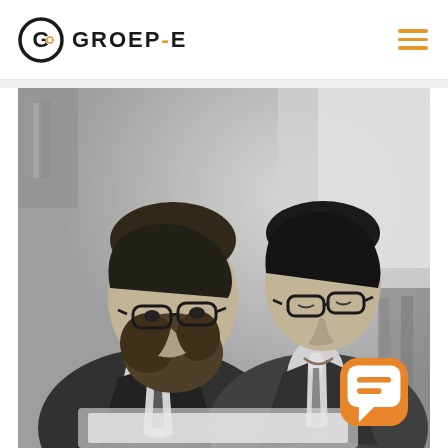GROEP-E logo and navigation header
[Figure (photo): Black and white photograph of two businessmen in suits looking down at a document or laptop together. The man on the left has longer hair, a beard, and glasses. The man on the right is younger with shorter hair and glasses, smiling slightly. Office bookshelves visible in background.]